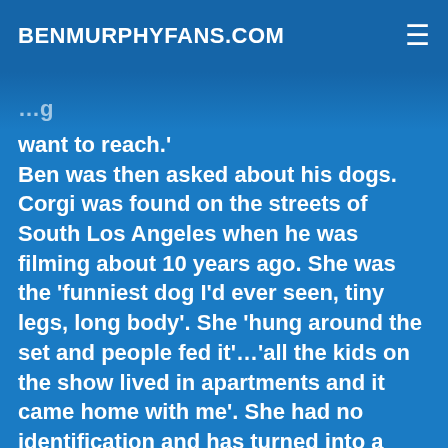BENMURPHYFANS.COM
…g want to reach.' Ben was then asked about his dogs. Corgi was found on the streets of South Los Angeles when he was filming about 10 years ago. She was the 'funniest dog I'd ever seen, tiny legs, long body'. She 'hung around the set and people fed it'…'all the kids on the show lived in apartments and it came home with me'. She had no identification and has turned into a beautiful dog…with a pit-bull's